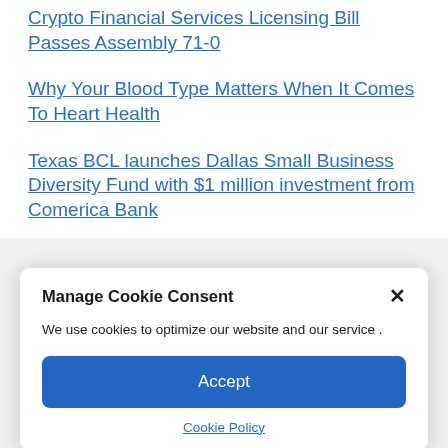Crypto Financial Services Licensing Bill Passes Assembly 71-0
Why Your Blood Type Matters When It Comes To Heart Health
Texas BCL launches Dallas Small Business Diversity Fund with $1 million investment from Comerica Bank
Manage Cookie Consent
We use cookies to optimize our website and our service .
Accept
Cookie Policy